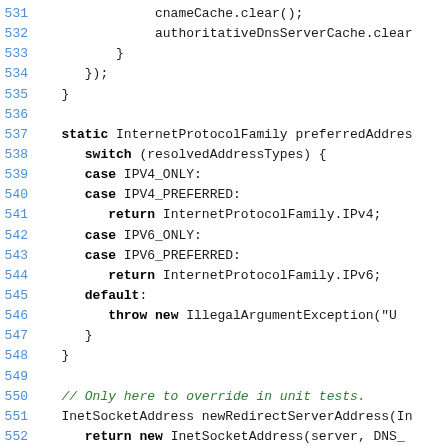Source code listing, lines 531–558, showing Java/Kotlin code with DNS resolver logic including cnameCache.clear(), authoritativeDnsServerCache.clear(), switch statement on resolvedAddressTypes, comment about unit tests, and DnsQueryLifecycleObserverFactory.